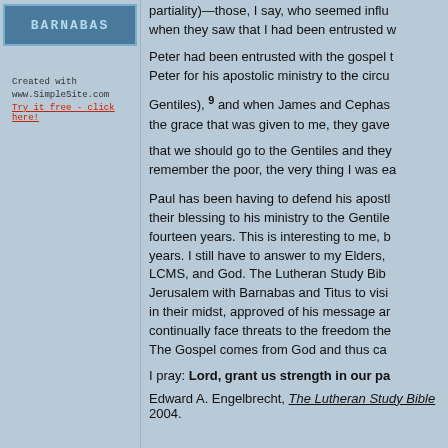[Figure (logo): Website logo banner for BARNABAS or similar text in stylized monospace font on dark blue background]
Created with
www.SimpleSite.com
Try it free - click here!
partiality)—those, I say, who seemed influential—when they saw that I had been entrusted w
Peter had been entrusted with the gospel to the circumcised, for he who worked through Peter for his apostolic ministry to the circu
Gentiles), 9 and when James and Cephas the grace that was given to me, they gave
that we should go to the Gentiles and they remember the poor, the very thing I was ea
Paul has been having to defend his apostleship their blessing to his ministry to the Gentile fourteen years. This is interesting to me, because years. I still have to answer to my Elders, LCMS, and God. The Lutheran Study Bib Jerusalem with Barnabas and Titus to visi in their midst, approved of his message ar continually face threats to the freedom the The Gospel comes from God and thus ca
I pray:  Lord, grant us strength in our pa
Edward A. Engelbrecht, The Lutheran Study Bible 2004.